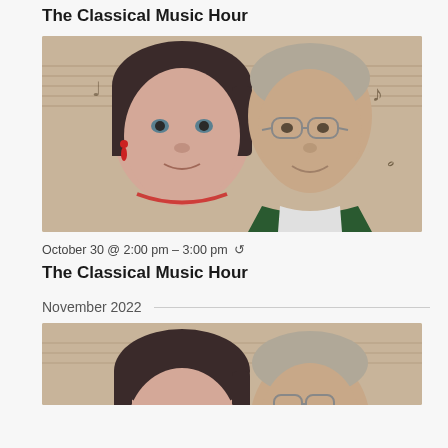The Classical Music Hour
[Figure (photo): Photo of two people (a woman with short dark hair and red earrings and a man with glasses and short grey hair) in front of a musical notes background]
October 30 @ 2:00 pm – 3:00 pm ↺
The Classical Music Hour
November 2022
[Figure (photo): Partial photo of two people (the same woman and man) in front of a musical notes background, cropped at bottom]